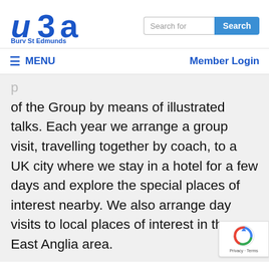[Figure (logo): u3a Bury St Edmunds logo in blue]
Search for [search box] Search
≡ MENU   Member Login
of the Group by means of illustrated talks. Each year we arrange a group visit, travelling together by coach, to a UK city where we stay in a hotel for a few days and explore the special places of interest nearby. We also arrange day visits to local places of interest in the East Anglia area.